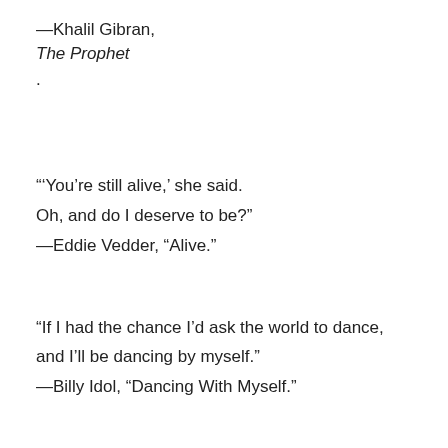—Khalil Gibran,
The Prophet
.
“‘You’re still alive,’ she said.

Oh, and do I deserve to be?”
—Eddie Vedder, “Alive.”
“If I had the chance I’d ask the world to dance,

and I’ll be dancing by myself.”
—Billy Idol, “Dancing With Myself.”